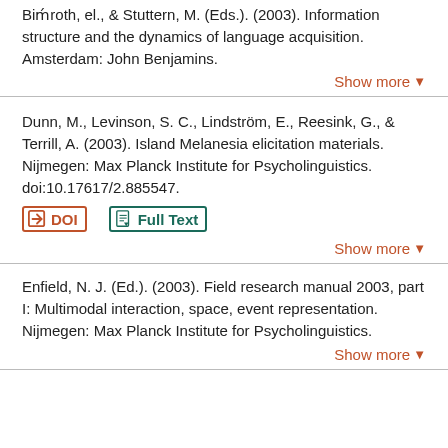Bohnroth, el., & Stuttern, M. (Eds.). (2003). Information structure and the dynamics of language acquisition. Amsterdam: John Benjamins.
Show more
Dunn, M., Levinson, S. C., Lindström, E., Reesink, G., & Terrill, A. (2003). Island Melanesia elicitation materials. Nijmegen: Max Planck Institute for Psycholinguistics. doi:10.17617/2.885547.
DOI  Full Text
Show more
Enfield, N. J. (Ed.). (2003). Field research manual 2003, part I: Multimodal interaction, space, event representation. Nijmegen: Max Planck Institute for Psycholinguistics.
Show more